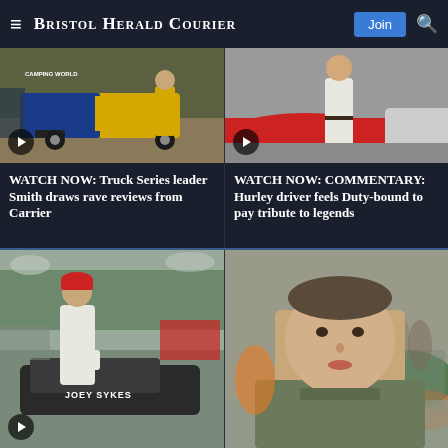Bristol Herald Courier
[Figure (photo): NASCAR Camping World Truck Series - yellow/blue truck with driver in racing suit standing beside it on dirt track]
[Figure (photo): Person standing beside a red and white race car in a garage area]
WATCH NOW: Truck Series leader Smith draws rave reviews from Carrier
WATCH NOW: COMMENTARY: Hurley driver feels Duty-bound to pay tribute to legends
[Figure (photo): Man in red cap standing beside a dark race car with 'JOEY SYKES' written on it]
[Figure (photo): Young driver wearing green shirt at a racing event]